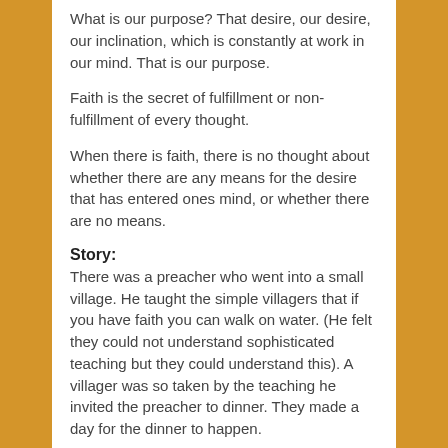What is our purpose? That desire, our desire, our inclination, which is constantly at work in our mind. That is our purpose.
Faith is the secret of fulfillment or non-fulfillment of every thought.
When there is faith, there is no thought about whether there are any means for the desire that has entered ones mind, or whether there are no means.
Story:
There was a preacher who went into a small village. He taught the simple villagers that if you have faith you can walk on water. (He felt they could not understand sophisticated teaching but they could understand this). A villager was so taken by the teaching he invited the preacher to dinner. They made a day for the dinner to happen.
The day came, and as they walked to the man's house